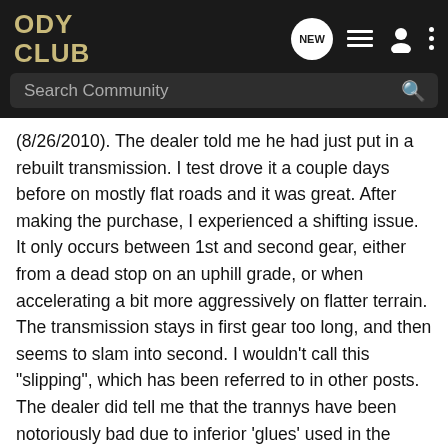ODY CLUB
(8/26/2010). The dealer told me he had just put in a rebuilt transmission. I test drove it a couple days before on mostly flat roads and it was great. After making the purchase, I experienced a shifting issue. It only occurs between 1st and second gear, either from a dead stop on an uphill grade, or when accelerating a bit more aggressively on flatter terrain. The transmission stays in first gear too long, and then seems to slam into second. I wouldn't call this "slipping", which has been referred to in other posts. The dealer did tell me that the trannys have been notoriously bad due to inferior 'glues' used in the manufacturing of the original plates. He said the newly installed transmission has plates that shouldn't fall apart. This makes me think that the screens may not be clogged, but perhaps someone here could help me out a bit more. Why would my tranny hang up in a gear until it suddenly grabs the next?